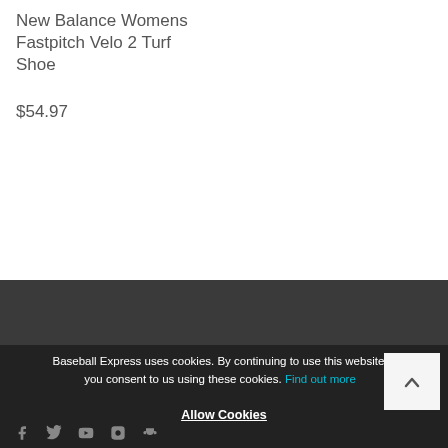New Balance Womens Fastpitch Velo 2 Turf Shoe
$54.97
Baseball Express uses cookies. By continuing to use this website, you consent to us using these cookies. Find out more
Allow Cookies